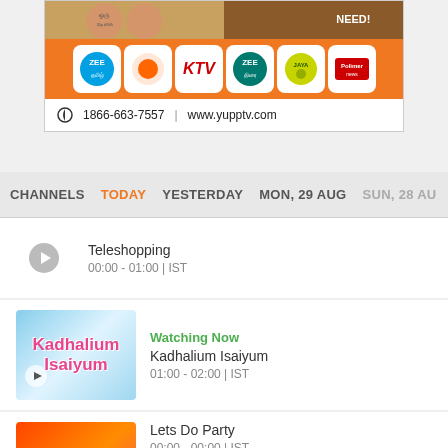[Figure (infographic): YuppTV advertisement banner with channel logos (Zee Tamil, Sun TV, KTV, Zee Thirai, Jaya TV, Polimer News) and contact info: 1866-663-7557 | www.yupptv.com]
CHANNELS  TODAY  YESTERDAY  MON, 29 AUG  SUN, 28 AU
Teleshopping
00:00 - 01:00 | IST
Watching Now
Kadhalium Isaiyum
01:00 - 02:00 | IST
Lets Do Party
00:00 - 00:00 | IST